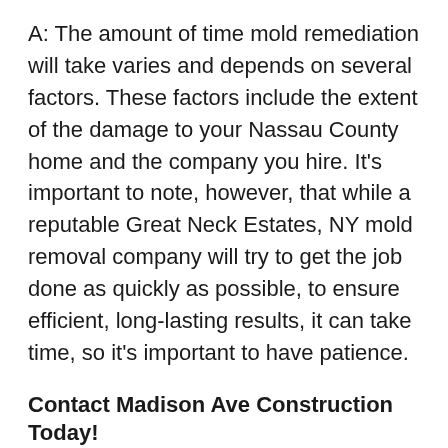A: The amount of time mold remediation will take varies and depends on several factors. These factors include the extent of the damage to your Nassau County home and the company you hire. It's important to note, however, that while a reputable Great Neck Estates, NY mold removal company will try to get the job done as quickly as possible, to ensure efficient, long-lasting results, it can take time, so it's important to have patience.
Contact Madison Ave Construction Today!
Whether you suspect mold growth in your Nassau County home or you're positive you have a problem, contact the certified team at Madison Ave Construction. Our Great Neck Estates, NY